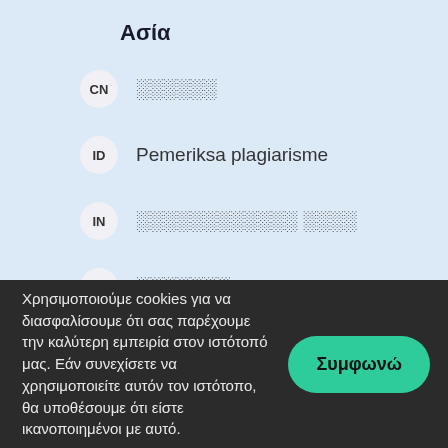Ασία
CN  ░░░░░░
ID  Pemeriksa plagiarisme
IN  ░░░░░░░░░░░░ ░░░░
JP  ░░░░░░░
KR  ░░ ░░░
MY  Pemeriksa plagiarisme
Χρησιμοποιούμε cookies για να διασφαλίσουμε ότι σας παρέχουμε την καλύτερη εμπειρία στον ιστότοπό μας. Εάν συνεχίσετε να χρησιμοποιείτε αυτόν τον ιστότοπο, θα υποθέσουμε ότι είστε ικανοποιημένοι με αυτό.
Συμφωνώ